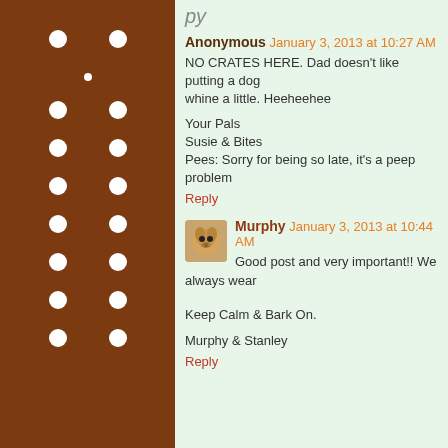Anonymous January 3, 2013 at 10:27 AM
NO CRATES HERE. Dad doesn't like putting a dog... whine a little. Heeheehee
Your Pals
Susie & Bites
Pees: Sorry for being so late, it's a peep problem
Reply
Murphy January 3, 2013 at 10:44 AM
Good post and very important!! We always wear...
Keep Calm & Bark On.
Murphy & Stanley
Reply